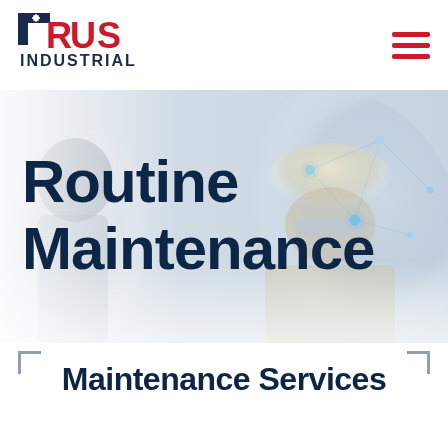[Figure (logo): TRus Industrial logo — stylized 'RUS' in bold red with 'T' in dark navy, star/asterisk accent, 'INDUSTRIAL' below in dark navy block letters]
[Figure (photo): Background hero image of industrial workers wearing hard hats and safety glasses, with a digital network/technology overlay of glowing dots and lines]
Routine Maintenance
Maintenance Services